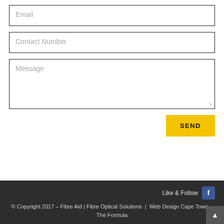Email
Contact Number
Message
SEND
Like & Follow  © Copyright 2017 – Fibre Aid | Fibre Optical Solutions | Web Design Cape Town – The Formula